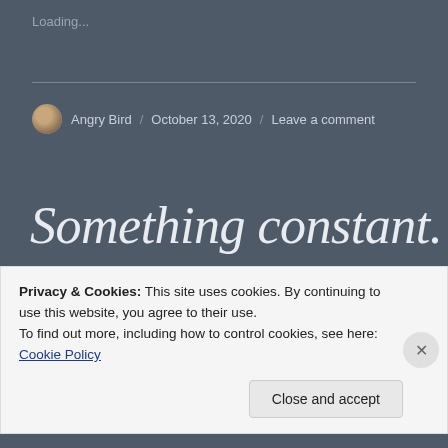Loading...
Angry Bird / October 13, 2020 / Leave a comment
Something constant.
Privacy & Cookies: This site uses cookies. By continuing to use this website, you agree to their use. To find out more, including how to control cookies, see here: Cookie Policy
Close and accept